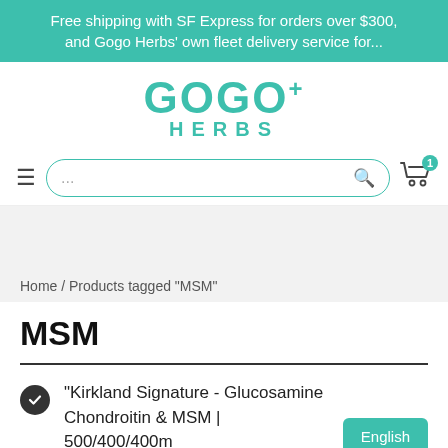Free shipping with SF Express for orders over $300, and Gogo Herbs' own fleet delivery service for...
[Figure (logo): GOGO+ HERBS logo in teal color]
[Figure (screenshot): Navigation bar with hamburger menu, search bar with ellipsis placeholder, and shopping cart icon with badge 1]
Home / Products tagged “MSM”
MSM
“Kirkland Signature - Glucosamine Chondroitin & MSM | 500/400/400m